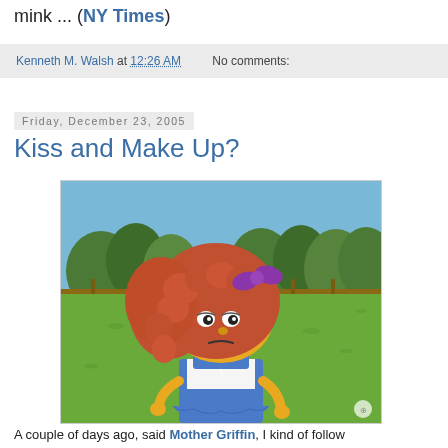mink ... (NY Times)
Kenneth M. Walsh at 12:26 AM   No comments:
Friday, December 23, 2005
Kiss and Make Up?
[Figure (illustration): Animated cartoon character from The Simpsons: a girl with voluminous curly red/orange hair with a purple bow, yellow skin, blue overalls, standing outdoors in front of a green lawn and trees.]
A couple of days ago, said Mother Griffin, I kind of follow